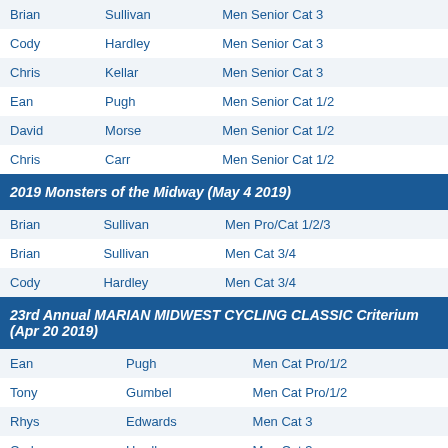| First | Last | Category |
| --- | --- | --- |
| Brian | Sullivan | Men Senior Cat 3 |
| Cody | Hardley | Men Senior Cat 3 |
| Chris | Kellar | Men Senior Cat 3 |
| Ean | Pugh | Men Senior Cat 1/2 |
| David | Morse | Men Senior Cat 1/2 |
| Chris | Carr | Men Senior Cat 1/2 |
2019 Monsters of the Midway (May 4 2019)
| First | Last | Category |
| --- | --- | --- |
| Brian | Sullivan | Men Pro/Cat 1/2/3 |
| Brian | Sullivan | Men Cat 3/4 |
| Cody | Hardley | Men Cat 3/4 |
23rd Annual MARIAN MIDWEST CYCLING CLASSIC Criterium (Apr 20 2019)
| First | Last | Category |
| --- | --- | --- |
| Ean | Pugh | Men Cat Pro/1/2 |
| Tony | Gumbel | Men Cat Pro/1/2 |
| Rhys | Edwards | Men Cat 3 |
| Cody | Hardley | Men Cat 3 |
| Charles | Dell | Men Cat 3 |